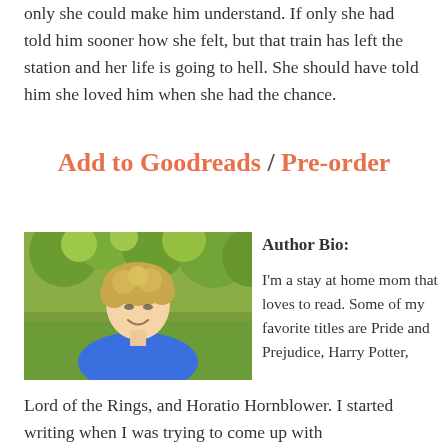only she could make him understand. If only she had told him sooner how she felt, but that train has left the station and her life is going to hell. She should have told him she loved him when she had the chance.
Add to Goodreads / Pre-order
[Figure (photo): Photo of a smiling woman with curly blonde hair wearing a blue top, standing outdoors with trees in the background.]
Author Bio:

I'm a stay at home mom that loves to read. Some of my favorite titles are Pride and Prejudice, Harry Potter, Lord of the Rings, and Horatio Hornblower. I started writing when I was trying to come up with